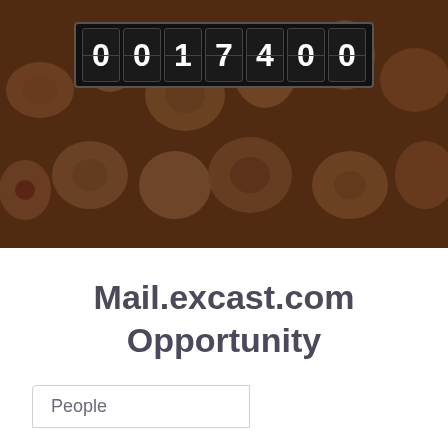[Figure (photo): Background photo of terracotta/clay decorative beads with carved patterns, overlaid with a dark odometer-style counter showing the number 0017400 in white digits on black digit tiles with a dark frame.]
Mail.excast.com Opportunity
People